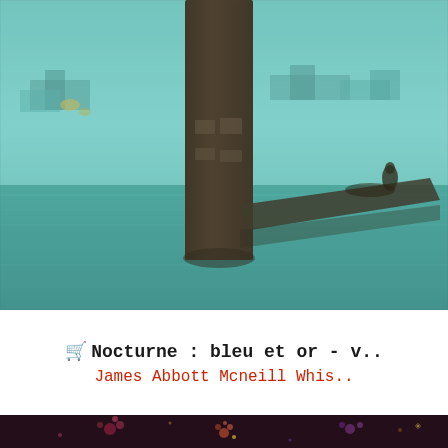[Figure (photo): Painting depicting a nocturne scene in teal and blue-green tones. A dark central pillar/post rises from water. A diagonal jetty or bridge structure extends to the right. Misty waterscape with faint buildings in background. Style consistent with Whistler's Nocturne paintings.]
🛒 Nocturne : bleu et or - v.. James Abbott Mcneill Whis..
[Figure (photo): Dark nocturne painting with fireworks or light bursts visible against a very dark background. Small colorful floral/burst shapes scattered across the bottom portion of the image.]